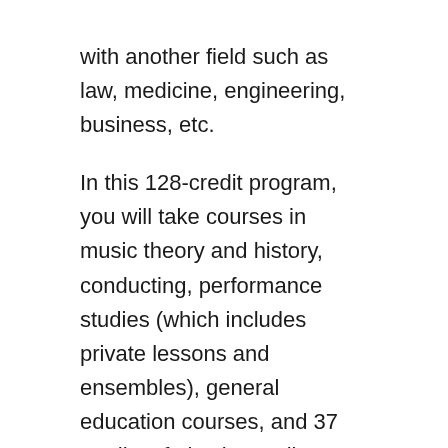with another field such as law, medicine, engineering, business, etc.
In this 128-credit program, you will take courses in music theory and history, conducting, performance studies (which includes private lessons and ensembles), general education courses, and 37 credits of electives. All students must pass the Piano Proficiency Exam, which is given at the beginning of each semester. As mentioned, this program is for students who wish to combine music with another field of study.
If you're interested in this program, you must first apply and be accepted to the U of U. Then, submit a scholarship application to the School of Music (due date is February 15). You will then prepare for an